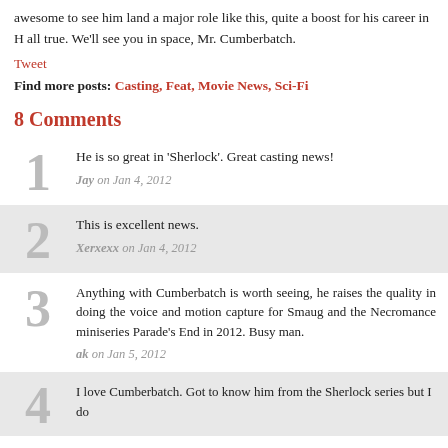awesome to see him land a major role like this, quite a boost for his career in H all true. We'll see you in space, Mr. Cumberbatch.
Tweet
Find more posts: Casting, Feat, Movie News, Sci-Fi
8 Comments
1 He is so great in 'Sherlock'. Great casting news! Jay on Jan 4, 2012
2 This is excellent news. Xerxexx on Jan 4, 2012
3 Anything with Cumberbatch is worth seeing, he raises the quality in doing the voice and motion capture for Smaug and the Necromance miniseries Parade's End in 2012. Busy man. ak on Jan 5, 2012
4 I love Cumberbatch. Got to know him from the Sherlock series but I do